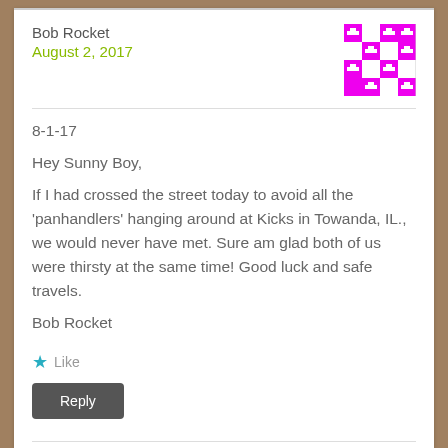Bob Rocket
August 2, 2017
[Figure (illustration): Pink and white geometric quilt-pattern avatar icon]
8-1-17
Hey Sunny Boy,
If I had crossed the street today to avoid all the 'panhandlers' hanging around at Kicks in Towanda, IL., we would never have met. Sure am glad both of us were thirsty at the same time! Good luck and safe travels.
Bob Rocket
★ Like
Reply
Leave a Reply
Your email address will not be published. Required